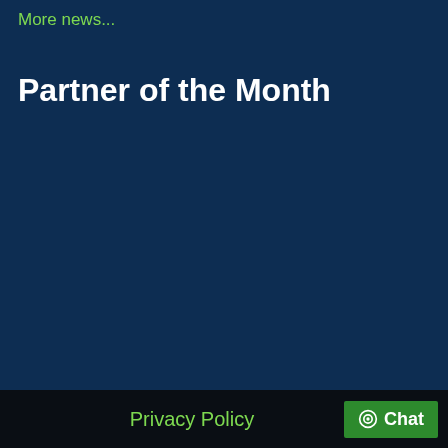More news...
Partner of the Month
Privacy Policy  Chat